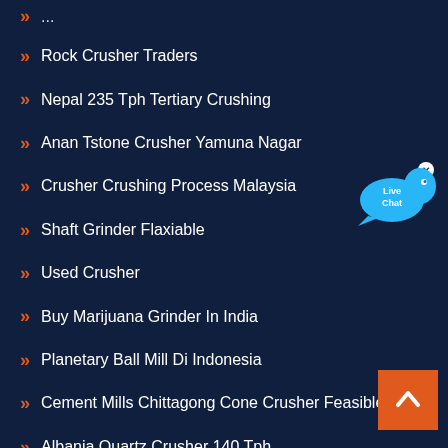Rock Crusher Traders
Nepal 235 Tph Tertiary Crushing
Anan Tstone Crusher Yamuna Nagar
Crusher Crushing Process Malaysia
Shaft Grinder Flaxiable
Used Crusher
Buy Marijuana Grinder In India
Planetary Ball Mill Di Indonesia
Cement Mills Chittagong Cone Crusher Feasible
Albania Quartz Crusher 140 Tph
[Figure (illustration): Live Chat speech bubble widget with blue color and 'Live Chat' text]
[Figure (illustration): Orange back-to-top button with upward chevron arrow]